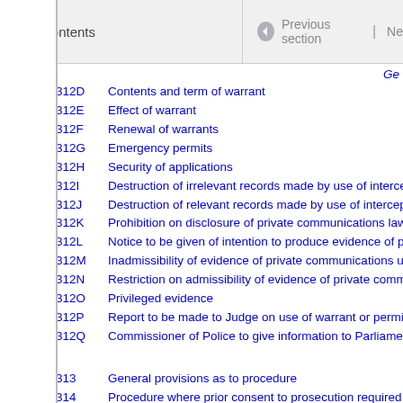Contents | Previous section | Ne
Ge
312D   Contents and term of warrant
312E   Effect of warrant
312F   Renewal of warrants
312G   Emergency permits
312H   Security of applications
312I   Destruction of irrelevant records made by use of interce
312J   Destruction of relevant records made by use of intercept
312K   Prohibition on disclosure of private communications law
312L   Notice to be given of intention to produce evidence of p
312M   Inadmissibility of evidence of private communications u
312N   Restriction on admissibility of evidence of private comm
312O   Privileged evidence
312P   Report to be made to Judge on use of warrant or permit
312Q   Commissioner of Police to give information to Parliame
313   General provisions as to procedure
314   Procedure where prior consent to prosecution required
General power to stop veh